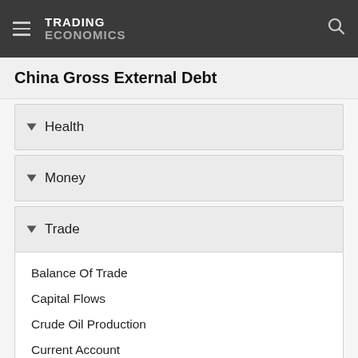TRADING ECONOMICS
China Gross External Debt
Health
Money
Trade
Balance Of Trade
Capital Flows
Crude Oil Production
Current Account
Current Account To GDP
Exports
Exports By Category
Exports By Country
Exports YoY